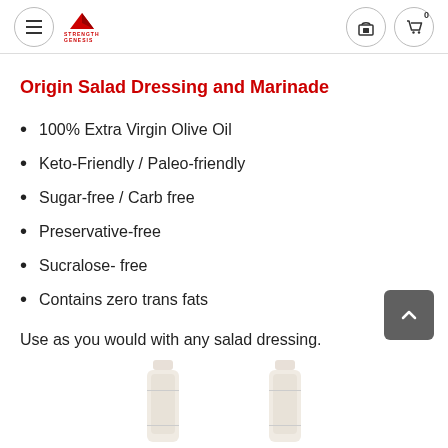Strength Genesis — Navigation header with hamburger menu, logo, store icon, and cart (0)
Origin Salad Dressing and Marinade
100% Extra Virgin Olive Oil
Keto-Friendly / Paleo-friendly
Sugar-free / Carb free
Preservative-free
Sucralose- free
Contains zero trans fats
Use as you would with any salad dressing.
[Figure (photo): Two bottles of Origin Salad Dressing partially visible at the bottom of the page]